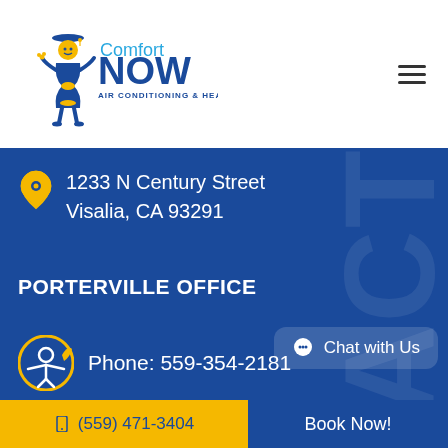[Figure (logo): Comfort NOW Air Conditioning & Heating logo with hourglass character]
1233 N Century Street
Visalia, CA 93291
PORTERVILLE OFFICE
Phone: 559-354-2181
Chat with Us
(559) 471-3404
Book Now!